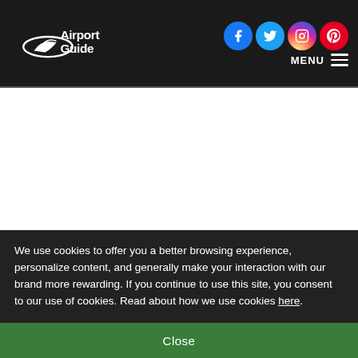[Figure (logo): AirportGuide logo with globe/ring graphic in white on dark background]
[Figure (other): Social media icons: Facebook (blue circle), Twitter (light blue circle), Instagram (gradient circle), Pinterest (red circle), and MENU hamburger button]
We use cookies to offer you a better browsing experience, personalize content, and generally make your interaction with our brand more rewarding. If you continue to use this site, you consent to our use of cookies. Read about how we use cookies here.
Close